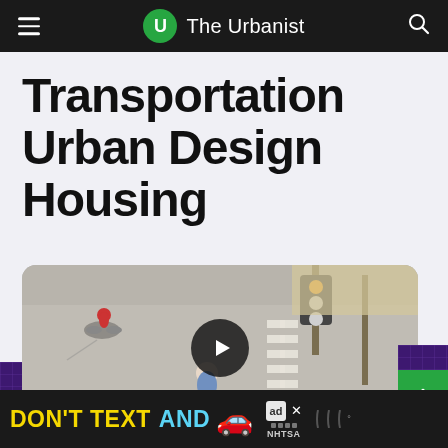The Urbanist
Transportation Urban Design Housing
[Figure (photo): Aerial/overhead view of cyclists and pedestrians at a street intersection with traffic signals, a play button overlay indicating a video]
DON'T TEXT AND [car emoji] — NHTSA advertisement banner